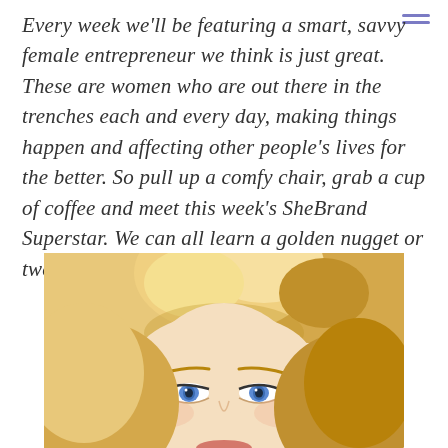Every week we'll be featuring a smart, savvy female entrepreneur we think is just great. These are women who are out there in the trenches each and every day, making things happen and affecting other people's lives for the better. So pull up a comfy chair, grab a cup of coffee and meet this week's SheBrand Superstar. We can all learn a golden nugget or two from each other.
[Figure (photo): Photo of a blonde woman, showing the top of her head, face with blue eyes, shot from the forehead up at the bottom of the page.]